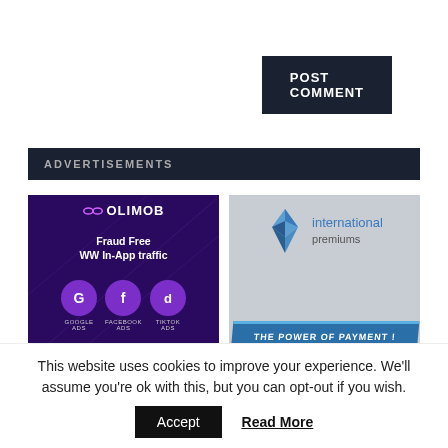[Figure (other): POST COMMENT button — dark navy rectangle with white bold text]
ADVERTISEMENTS
[Figure (logo): OLIMOB advertisement: dark purple background, logo with infinity-like icon, text 'Fraud Free WW In-App traffic', three hexagonal icons for Google Ads, Facebook Ads, TikTok Ads, bottom text 'TAP YOUR FORMAT! PLUG IT IN!']
[Figure (logo): International Premiums advertisement: grey background, blue diamond logo, text 'international premiums', blue ribbon banner 'THE POWER OF PAYMENT!']
This website uses cookies to improve your experience. We'll assume you're ok with this, but you can opt-out if you wish.
[Figure (other): Accept button (black) and Read More link (underlined)]